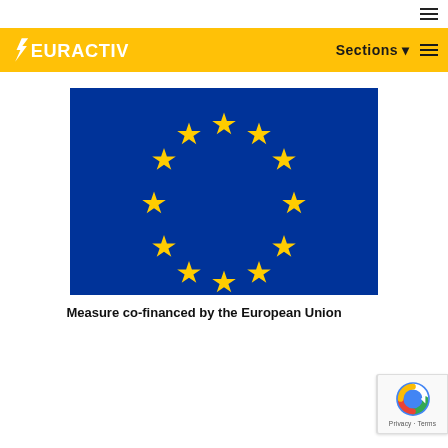EURACTIV — Sections
[Figure (illustration): European Union flag: blue rectangle with a circle of 12 yellow five-pointed stars on a blue background]
Measure co-financed by the European Union